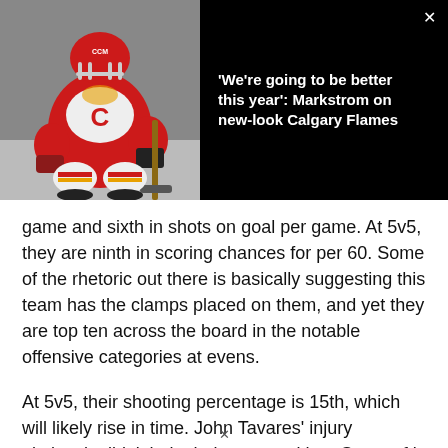[Figure (photo): Calgary Flames goalie in red uniform in crouching stance on ice, against dark background]
'We're going to be better this year': Markstrom on new-look Calgary Flames
game and sixth in shots on goal per game. At 5v5, they are ninth in scoring chances for per 60. Some of the rhetoric out there is basically suggesting this team has the clamps placed on them, and yet they are top ten across the board in the notable offensive categories at evens.
At 5v5, their shooting percentage is 15th, which will likely rise in time. John Tavares' injury obviously didn't help their cause, either. Some of it is that the team just has to execute better, too.